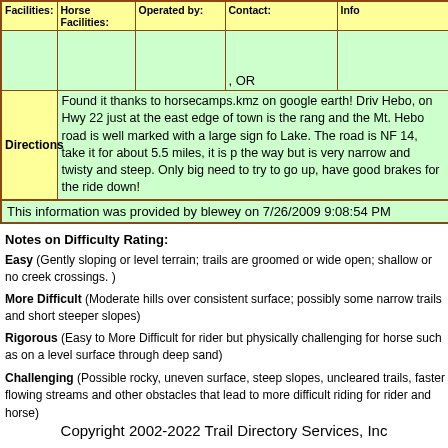| Facilities: | Horse Facilities: | Operated by: | Contact: | Info |
| --- | --- | --- | --- | --- |
|  |  |  | , OR |  |
| Directions | Found it thanks to horsecamps.kmz on google earth! Drive Hebo, on Hwy 22 just at the east edge of town is the rang and the Mt. Hebo road is well marked with a large sign fo Lake. The road is NF 14, take it for about 5.5 miles, it is p the way but is very narrow and twisty and steep. Only big need to try to go up, have good brakes for the ride down! |  |  |  |
| This information was provided by blewey on 7/26/2009 9:08:54 PM |  |  |  |  |
Notes on Difficulty Rating:
Easy (Gently sloping or level terrain; trails are groomed or wide open; shallow or no creek crossings. )
More Difficult (Moderate hills over consistent surface; possibly some narrow trails and short steeper slopes)
Rigorous (Easy to More Difficult for rider but physically challenging for horse such as on a level surface through deep sand)
Challenging (Possible rocky, uneven surface, steep slopes, uncleared trails, faster flowing streams and other obstacles that lead to more difficult riding for rider and horse)
Copyright 2002-2022 Trail Directory Services, Inc